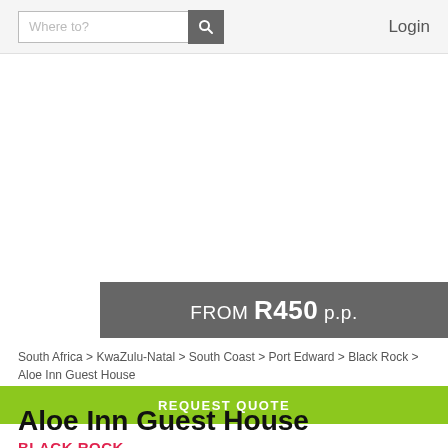Where to? [search] Login
FROM R450 p.p.
South Africa > KwaZulu-Natal > South Coast > Port Edward > Black Rock > Aloe Inn Guest House
REQUEST QUOTE
Aloe Inn Guest House
BLACK ROCK